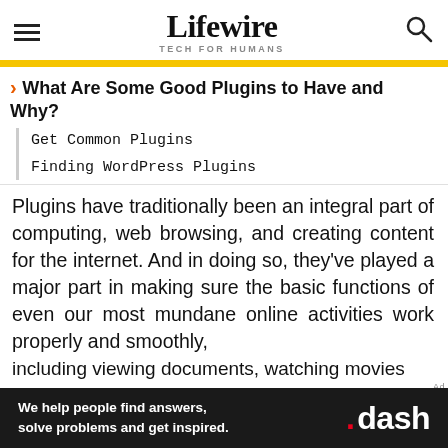Lifewire — TECH FOR HUMANS
What Are Some Good Plugins to Have and Why?
Get Common Plugins
Finding WordPress Plugins
Plugins have traditionally been an integral part of computing, web browsing, and creating content for the internet. And in doing so, they've played a major part in making sure the basic functions of even our most mundane online activities work properly and smoothly, inclu ding viewing documents, watching movies
[Figure (other): Advertisement banner: black background with text 'We help people find answers, solve problems and get inspired.' and '.dash' logo with red dot]